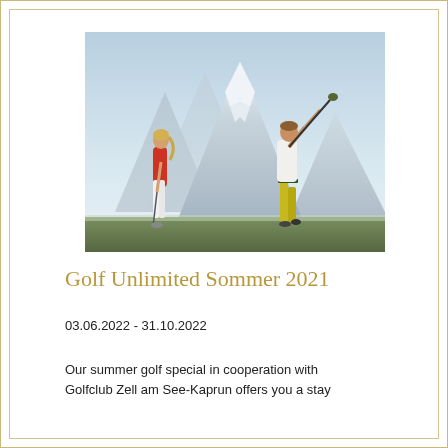[Figure (photo): Two golfers on a mountain golf course with a dramatic snow-capped alpine peak in the background. A woman in a red shirt and white trousers stands on the left holding a golf club, while a man in a white shirt and yellow trousers is mid-swing on the right.]
Golf Unlimited Sommer 2021
03.06.2022 - 31.10.2022
Our summer golf special in cooperation with Golfclub Zell am See-Kaprun offers you a stay